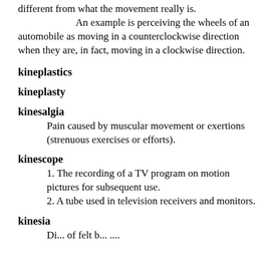different from what the movement really is.
    An example is perceiving the wheels of an automobile as moving in a counterclockwise direction when they are, in fact, moving in a clockwise direction.
kineplastics
kineplasty
kinesalgia
Pain caused by muscular movement or exertions (strenuous exercises or efforts).
kinescope
1. The recording of a TV program on motion pictures for subsequent use.
2. A tube used in television receivers and monitors.
kinesia
Di... of felt b... ....